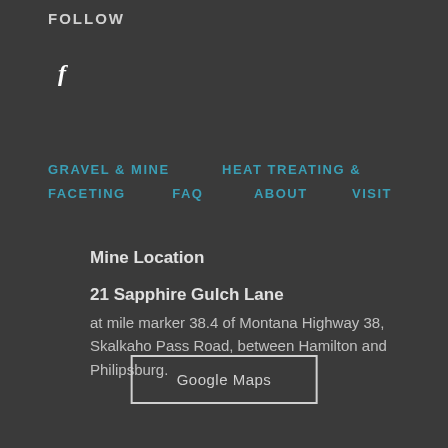FOLLOW
[Figure (logo): Facebook icon (stylized letter f)]
GRAVEL & MINE   HEAT TREATING &
FACETING   FAQ   ABOUT   VISIT
Mine Location
21 Sapphire Gulch Lane
at mile marker 38.4 of Montana Highway 38, Skalkaho Pass Road, between Hamilton and Philipsburg.
Google Maps